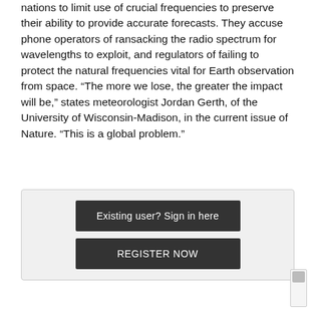nations to limit use of crucial frequencies to preserve their ability to provide accurate forecasts. They accuse phone operators of ransacking the radio spectrum for wavelengths to exploit, and regulators of failing to protect the natural frequencies vital for Earth observation from space. “The more we lose, the greater the impact will be,” states meteorologist Jordan Gerth, of the University of Wisconsin-Madison, in the current issue of Nature. “This is a global problem.”
[Figure (other): Login/registration box with two buttons: 'Existing user? Sign in here' and 'REGISTER NOW']